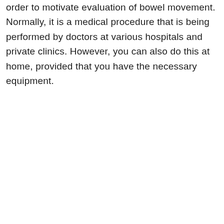order to motivate evaluation of bowel movement. Normally, it is a medical procedure that is being performed by doctors at various hospitals and private clinics. However, you can also do this at home, provided that you have the necessary equipment.